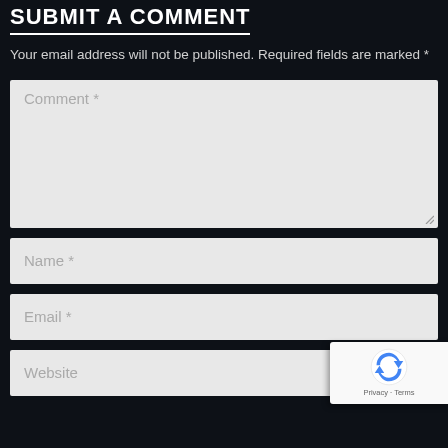SUBMIT A COMMENT
Your email address will not be published. Required fields are marked *
[Figure (screenshot): Comment text area input field with placeholder text 'Comment *']
[Figure (screenshot): Name input field with placeholder text 'Name *']
[Figure (screenshot): Email input field with placeholder text 'Email *']
[Figure (screenshot): Website input field with placeholder text 'Website']
[Figure (screenshot): reCAPTCHA badge with Privacy and Terms links]